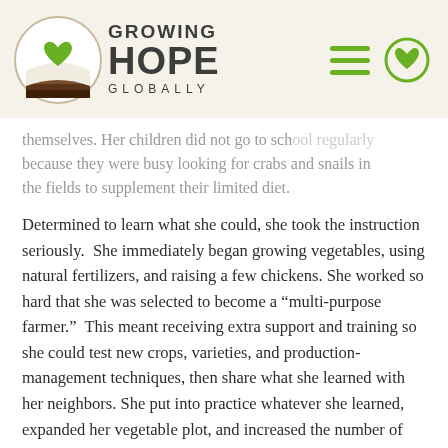[Figure (logo): Growing Hope Globally logo with circular emblem showing a green heart above a book/field with brown soil layers, and navigation icons (hamburger menu and heart circle)]
themselves. Her children did not go to sch... regularly because they were busy looking for crabs and snails in the fields to supplement their limited diet.
Determined to learn what she could, she took the instruction seriously.  She immediately began growing vegetables, using natural fertilizers, and raising a few chickens. She worked so hard that she was selected to become a “multi-purpose farmer.”  This meant receiving extra support and training so she could test new crops, varieties, and production-management techniques, then share what she learned with her neighbors. She put into practice whatever she learned, expanded her vegetable plot, and increased the number of chickens she raised. Now she not only